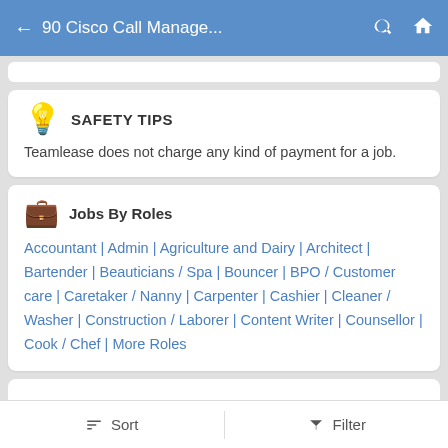90 Cisco Call Manage...
SAFETY TIPS
Teamlease does not charge any kind of payment for a job.
Jobs By Roles
Accountant | Admin | Agriculture and Dairy | Architect | Bartender | Beauticians / Spa | Bouncer | BPO / Customer care | Caretaker / Nanny | Carpenter | Cashier | Cleaner / Washer | Construction / Laborer | Content Writer | Counsellor | Cook / Chef | More Roles
Sort   Filter